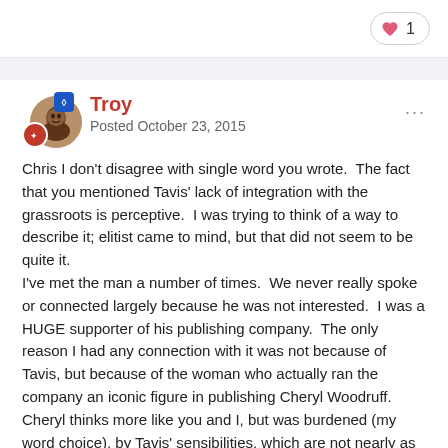1 like
Troy
Posted October 23, 2015
Chris I don't disagree with single word you wrote.  The fact that you mentioned Tavis' lack of integration with the grassroots is perceptive.  I was trying to think of a way to describe it; elitist came to mind, but that did not seem to be quite it.
I've met the man a number of times.  We never really spoke or connected largely because he was not interested.  I was a HUGE supporter of his publishing company.  The only reason I had any connection with it was not because of Tavis, but because of the woman who actually ran the company an iconic figure in publishing Cheryl Woodruff.  Cheryl thinks more like you and I, but was burdened (my word choice), by Tavis' sensibilities, which are not nearly as conscious, in my opinion.
Chris active support of 100 writers would subsidize my support of 1,000 other authors.  I always envisioned that that support would from the block from an area more now.